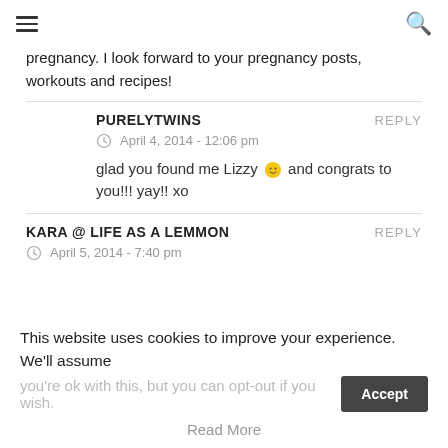[hamburger menu] [search icon]
pregnancy. I look forward to your pregnancy posts, workouts and recipes!
PURELYTWINS
April 4, 2014 - 12:06 pm
glad you found me Lizzy 🙂 and congrats to you!!! yay!! xo
KARA @ LIFE AS A LEMMON
April 5, 2014 - 7:40 pm
This website uses cookies to improve your experience. We'll assume you're ok with this, but you can opt-out if you wish.
Read More